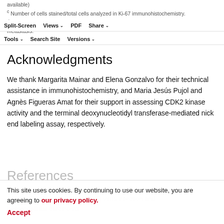available)
c Number of cells stained/total cells analyzed in Ki-67 immunohistochemistry.
d HC-3M xenograft was used in the direct reimplantation of the HC-3 lymph node metastasis.
Split-Screen | Views | PDF | Share | Tools | Search Site | Versions
Acknowledgments
We thank Margarita Mainar and Elena Gonzalvo for their technical assistance in immunohistochemistry, and Maria Jesús Pujol and Agnès Figueras Amat for their support in assessing CDK2 kinase activity and the terminal deoxynucleotidyl transferase-mediated nick end labeling assay, respectively.
References
1. Gran PJ, Chen DS Hepatitis B virus infection and hepatocellular carcinoma...
This site uses cookies. By continuing to use our website, you are agreeing to our privacy policy.
Accept